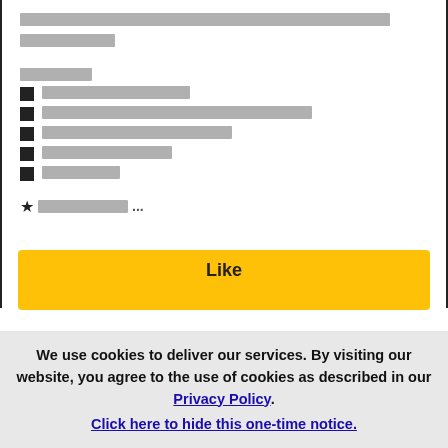░░░░░░░░░░░░░░░░░░░░░░░░░░░░░░░░░░░░░░░░░░░░░ ░░░░░░░░
░░░░░░
░░░░░░░░░░░░░
░░░░░░░░░░░░░░░░░░░░░░░░░░░
░░░░░░░░░░░░░░░░░░░
░░░░░░░░░░░░
░░░░░░░
★ ░░░░░░░░░ ...
Like
We use cookies to deliver our services. By visiting our website, you agree to the use of cookies as described in our Privacy Policy. Click here to hide this one-time notice.